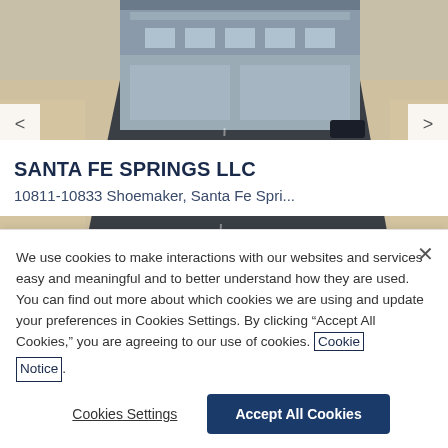[Figure (photo): Aerial view of a modern commercial/industrial building with dark paved driveway and surrounding sandy/beige landscape, with a car parked in the driveway]
SANTA FE SPRINGS LLC
10811-10833 Shoemaker, Santa Fe Spri...
We use cookies to make interactions with our websites and services easy and meaningful and to better understand how they are used. You can find out more about which cookies we are using and update your preferences in Cookies Settings. By clicking “Accept All Cookies,” you are agreeing to our use of cookies. Cookie Notice.
Cookies Settings
Accept All Cookies